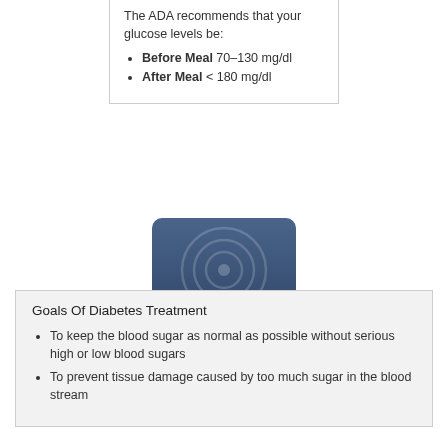The ADA recommends that your glucose levels be:
Before Meal 70–130 mg/dl
After Meal < 180 mg/dl
[Figure (illustration): A blue rounded-rectangle button with a target/bullseye circle icon above the text 'MAKE A GIFT' in white bold capitals]
Goals Of Diabetes Treatment
To keep the blood sugar as normal as possible without serious high or low blood sugars
To prevent tissue damage caused by too much sugar in the blood stream